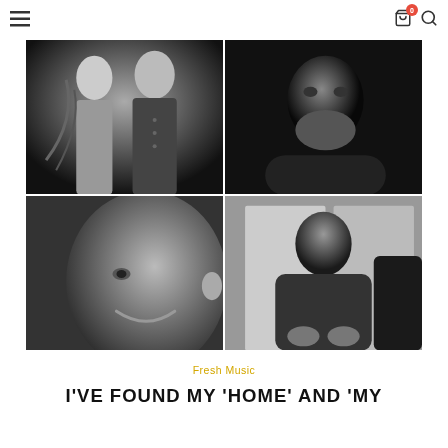Navigation bar with hamburger menu, cart (0 items), and search icon
[Figure (photo): 2x2 grid of black and white portrait photographs. Top-left: two people standing together, one in a black button shirt. Top-right: a bearded man in dark clothing, dramatic low-key lighting. Bottom-left: close-up of a bald person smiling gently. Bottom-right: a man in a dark sweatshirt seated, hands clasped.]
Fresh Music
I'VE FOUND MY 'HOME' AND 'MY